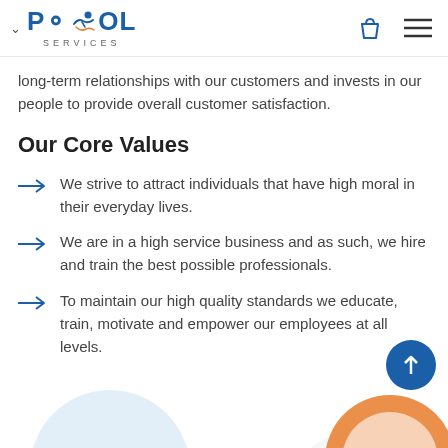POOL SERVICES
long-term relationships with our customers and invests in our people to provide overall customer satisfaction.
Our Core Values
We strive to attract individuals that have high moral in their everyday lives.
We are in a high service business and as such, we hire and train the best possible professionals.
To maintain our high quality standards we educate, train, motivate and empower our employees at all levels.
[Figure (illustration): Decorative circular shapes at the bottom of the page — a light blue circle on the left and an orange/white circular icon on the right]